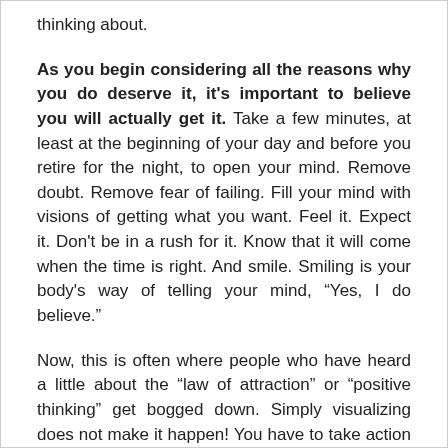thinking about.
As you begin considering all the reasons why you do deserve it, it's important to believe you will actually get it. Take a few minutes, at least at the beginning of your day and before you retire for the night, to open your mind. Remove doubt. Remove fear of failing. Fill your mind with visions of getting what you want. Feel it. Expect it. Don't be in a rush for it. Know that it will come when the time is right. And smile. Smiling is your body's way of telling your mind, “Yes, I do believe.”
Now, this is often where people who have heard a little about the “law of attraction” or “positive thinking” get bogged down. Simply visualizing does not make it happen! You have to take action as well. Establish the steps you must take to achieve your goal. Ask yourself questions like “What do I need to do to get X?” instead of asking yourself limiting questions like “Why do I never get X?” Write down the steps and take action on them. You can do it!
Finally, it's important to enjoy the present moment. Be happy where you are today. You have air in your lungs! You're above